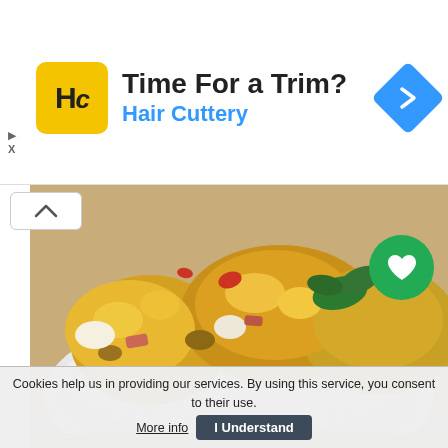[Figure (advertisement): Hair Cuttery advertisement banner with yellow logo showing 'HC' text, headline 'Time For a Trim?' and blue subtext 'Hair Cuttery', plus blue diamond navigation icon on right]
[Figure (photo): Close-up food photo of muffins with ham and eggs in a white ceramic baking dish, topped with melted cheese and fresh herbs]
recipes
Muffins with ham and eggs
★★★★★
Cookies help us in providing our services. By using this service, you consent to their use. More info  I Understand